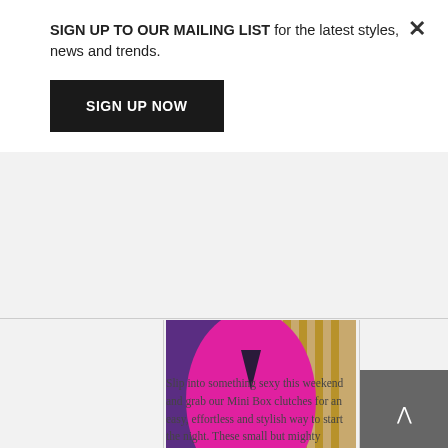SIGN UP TO OUR MAILING LIST for the latest styles, news and trends.
SIGN UP NOW
[Figure (photo): Fashion photo of a person wearing a bright magenta/pink blouse holding a gold metallic Mini Box clutch purse, with a green satin skirt and colorful background]
Slip into something sexy this weekend and grab our Mini Box clutches for an easy, effortless and stylish way to start the night. These small but mighty